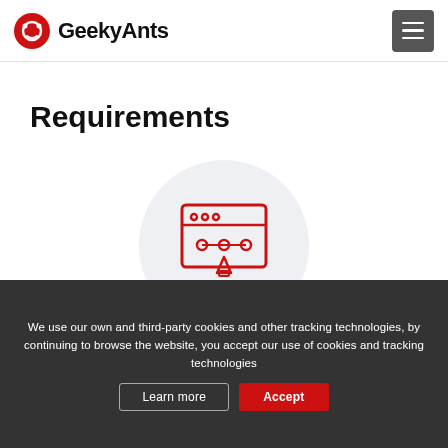GeekyAnts
Requirements
[Figure (illustration): A red outline icon of a browser/design tool window with bezier curve handles and a pen tool nib, on a light grey circular background]
mobile and web applications provided by the
We use our own and third-party cookies and other tracking technologies, by continuing to browse the website, you accept our use of cookies and tracking technologies
Learn more
Accept